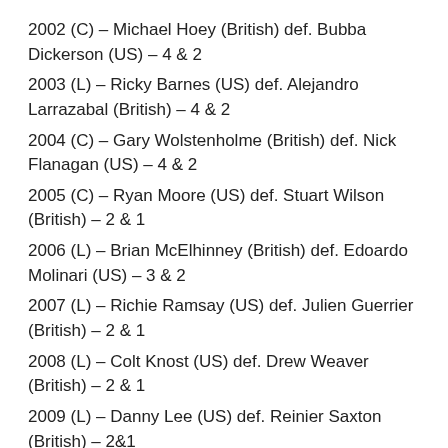2002 (C) – Michael Hoey (British) def. Bubba Dickerson (US) – 4 & 2
2003 (L) – Ricky Barnes (US) def. Alejandro Larrazabal (British) – 4 & 2
2004 (C) – Gary Wolstenholme (British) def. Nick Flanagan (US) – 4 & 2
2005 (C) – Ryan Moore (US) def. Stuart Wilson (British) – 2 & 1
2006 (L) – Brian McElhinney (British) def. Edoardo Molinari (US) – 3 & 2
2007 (L) – Richie Ramsay (US) def. Julien Guerrier (British) – 2 & 1
2008 (L) – Colt Knost (US) def. Drew Weaver (British) – 2 & 1
2009 (L) – Danny Lee (US) def. Reinier Saxton (British) – 2&1